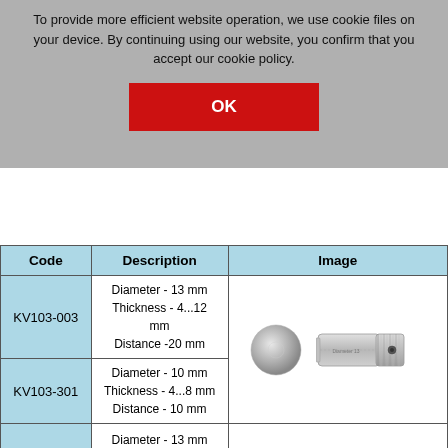To provide more efficient website operation, we use cookie files on your device. By continuing using our website, you confirm that you accept our cookie policy.
| Code | Description | Image |
| --- | --- | --- |
| KV103-003 | Diameter - 13 mm
Thickness - 4...12 mm
Distance -20 mm | (image) |
| KV103-301 | Diameter - 10 mm
Thickness - 4...8 mm
Distance - 10 mm | (image) |
| KV103-302 | Diameter - 13 mm
Thickness - 4...8 mm | (image) |